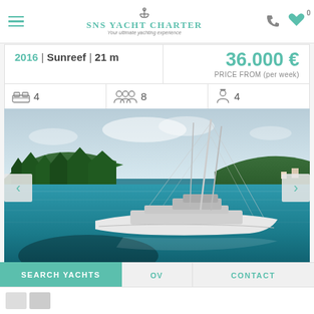SNS Yacht Charter — Your ultimate yachting experience
2016 | Sunreef | 21 m
36.000 € PRICE FROM (per week)
4 cabins | 8 guests | 4 crew
[Figure (photo): Aerial view of a white catamaran sailing on turquoise water near a forested hillside]
SEARCH YACHTS | OV... | CONTACT